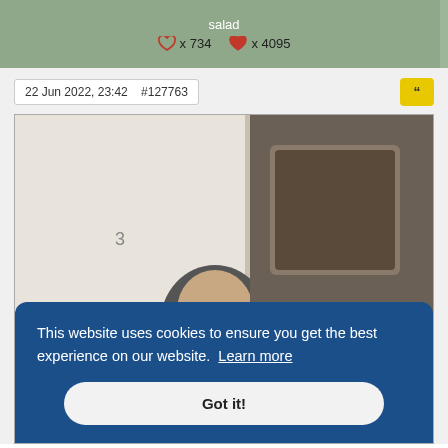salad
♡ x 734   ♥ x 4095
22 Jun 2022, 23:42   #127763
[Figure (photo): Black and white vintage photograph of a young woman with dark curly hair, holding a pointer or stick, appearing to be in front of a board or screen. An overlapping cookie consent banner partially covers the lower portion.]
This website uses cookies to ensure you get the best experience on our website. Learn more
Got it!